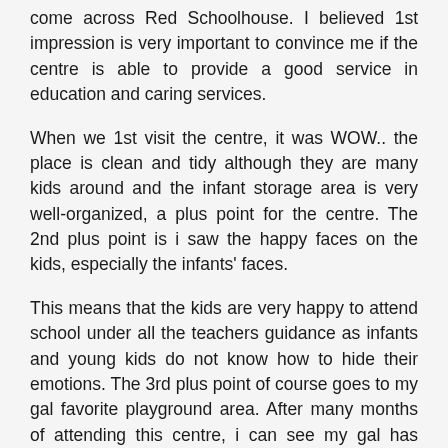come across Red Schoolhouse. I believed 1st impression is very important to convince me if the centre is able to provide a good service in education and caring services.
When we 1st visit the centre, it was WOW.. the place is clean and tidy although they are many kids around and the infant storage area is very well-organized, a plus point for the centre. The 2nd plus point is i saw the happy faces on the kids, especially the infants' faces.
This means that the kids are very happy to attend school under all the teachers guidance as infants and young kids do not know how to hide their emotions. The 3rd plus point of course goes to my gal favorite playground area. After many months of attending this centre, i can see my gal has improved alots in her speech, grammar and vocabulary in english and chinese.